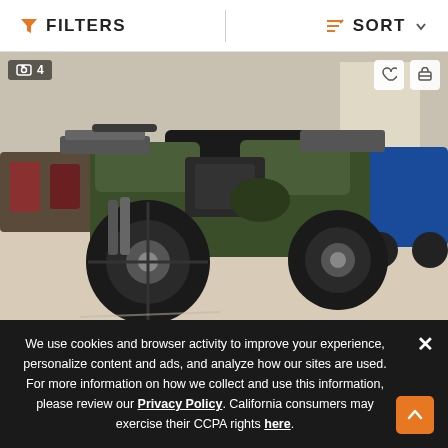FILTERS   SORT
[Figure (photo): Green ATV/quad bike parked inside a dealership showroom. Other ATVs and powersports vehicles visible in the background. Photo count badge showing '4' in top-left corner.]
N... 2022 Pol... Can... 450...
We use cookies and browser activity to improve your experience, personalize content and ads, and analyze how our sites are used. For more information on how we collect and use this information, please review our Privacy Policy. California consumers may exercise their CCPA rights here.